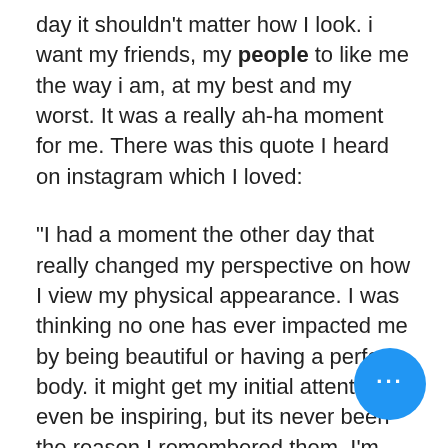day it shouldn't matter how I look. i want my friends, my people to like me the way i am, at my best and my worst. It was a really ah-ha moment for me. There was this quote I heard on instagram which I loved:
"I had a moment the other day that really changed my perspective on how I view my physical appearance. I was thinking no one has ever impacted me by being beautiful or having a perfect body. it might get my initial attention or even be inspiring, but its never been the reason I remembered them. I'm impacted by people for their kindness, their lo[ve] their patience, their genoritsy, the[ir] vunrablity, etc. I've never said "she
[Figure (other): Blue circular button with three white dots (more options / ellipsis icon) in the bottom-right area of the page]